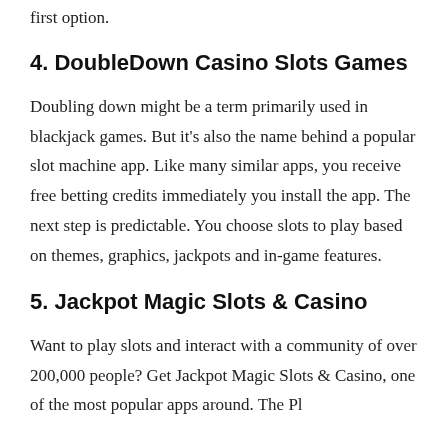first option.
4. DoubleDown Casino Slots Games
Doubling down might be a term primarily used in blackjack games. But it's also the name behind a popular slot machine app. Like many similar apps, you receive free betting credits immediately you install the app. The next step is predictable. You choose slots to play based on themes, graphics, jackpots and in-game features.
5. Jackpot Magic Slots & Casino
Want to play slots and interact with a community of over 200,000 people? Get Jackpot Magic Slots & Casino, one of the most popular apps around. The Pl